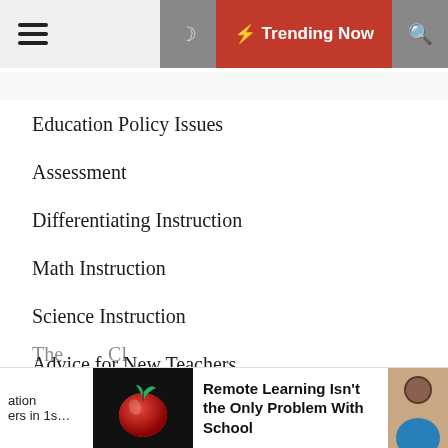Trending Now
Education Policy Issues
Assessment
Differentiating Instruction
Math Instruction
Science Instruction
Advice for New Teachers
Author Interviews
Entering the Teaching Profession
Remote Learning Isn't the Only Problem With School